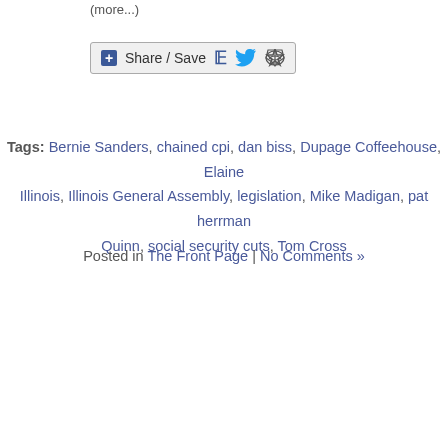(more...)
[Figure (other): Share / Save button bar with Facebook, Twitter, and share icons]
Tags: Bernie Sanders, chained cpi, dan biss, Dupage Coffeehouse, Elaine Illinois, Illinois General Assembly, legislation, Mike Madigan, pat herrman Quinn, social security cuts, Tom Cross
Posted in The Front Page | No Comments »